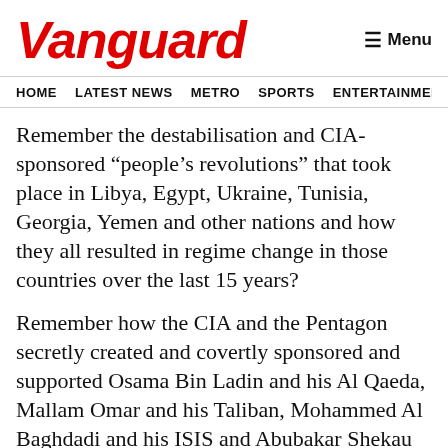Vanguard
Menu
HOME  LATEST NEWS  METRO  SPORTS  ENTERTAINMENT  VIDEOS
Remember the destabilisation and CIA-sponsored “people’s revolutions” that took place in Libya, Egypt, Ukraine, Tunisia, Georgia, Yemen and other nations and how they all resulted in regime change in those countries over the last 15 years?
Remember how the CIA and the Pentagon secretly created and covertly sponsored and supported Osama Bin Ladin and his Al Qaeda, Mallam Omar and his Taliban, Mohammed Al Baghdadi and his ISIS and Abubakar Shekau and his Boko Haram at the outset in order to use them to fight the Soviets